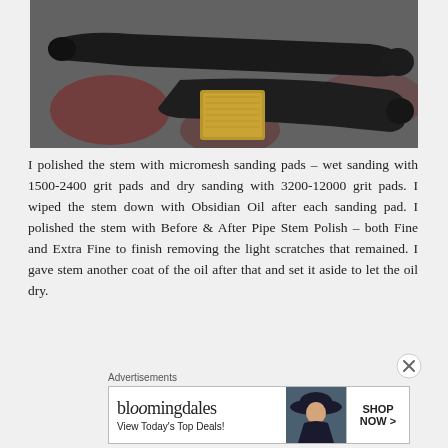[Figure (photo): Two black pipe stems and a small brass scraper/tool laid on a patterned red and grey carpet/rug background]
I polished the stem with micromesh sanding pads – wet sanding with 1500-2400 grit pads and dry sanding with 3200-12000 grit pads. I wiped the stem down with Obsidian Oil after each sanding pad. I polished the stem with Before & After Pipe Stem Polish – both Fine and Extra Fine to finish removing the light scratches that remained. I gave stem another coat of the oil after that and set it aside to let the oil dry.
Advertisements
[Figure (screenshot): Bloomingdale's advertisement banner: logo text 'bloomingdales', tagline 'View Today's Top Deals!', image of woman with wide brim hat, SHOP NOW > button]